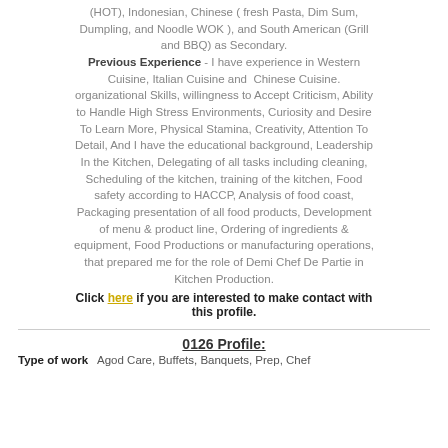(HOT), Indonesian, Chinese ( fresh Pasta, Dim Sum, Dumpling, and Noodle WOK ), and South American (Grill and BBQ) as Secondary. Previous Experience - I have experience in Western Cuisine, Italian Cuisine and Chinese Cuisine. organizational Skills, willingness to Accept Criticism, Ability to Handle High Stress Environments, Curiosity and Desire To Learn More, Physical Stamina, Creativity, Attention To Detail, And I have the educational background, Leadership In the Kitchen, Delegating of all tasks including cleaning, Scheduling of the kitchen, training of the kitchen, Food safety according to HACCP, Analysis of food coast, Packaging presentation of all food products, Development of menu & product line, Ordering of ingredients & equipment, Food Productions or manufacturing operations, that prepared me for the role of Demi Chef De Partie in Kitchen Production.
Click here if you are interested to make contact with this profile.
0126 Profile:
Type of work  Agod Care, Buffets, Banquets, Prep, Chef